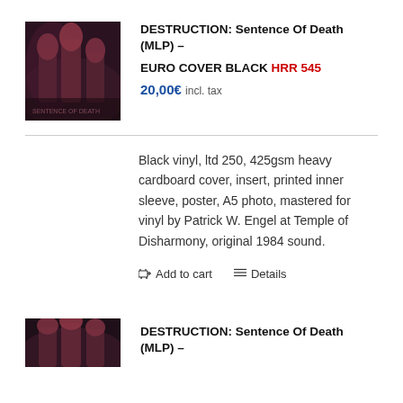[Figure (photo): Album cover photo showing band members with long hair in a dark setting, for DESTRUCTION: Sentence Of Death]
DESTRUCTION: Sentence Of Death (MLP) – EURO COVER BLACK HRR 545
20,00€ incl. tax
Black vinyl, ltd 250, 425gsm heavy cardboard cover, insert, printed inner sleeve, poster, A5 photo, mastered for vinyl by Patrick W. Engel at Temple of Disharmony, original 1984 sound.
Add to cart   Details
[Figure (photo): Album cover photo showing band members with long hair in a dark setting, for DESTRUCTION: Sentence Of Death (second item)]
DESTRUCTION: Sentence Of Death (MLP) –